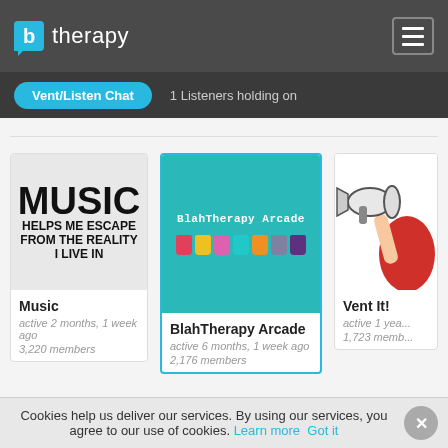[Figure (logo): btherapy logo with blue speech bubble 'b' icon and text 'therapy' in white]
[Figure (screenshot): Hamburger menu button (three horizontal lines) in grey border box]
Vent/Listen Chat
1 Listeners holding on
[Figure (photo): Music group image: grey background with bold text 'MUSIC HELPS ME ESCAPE FROM THE REALITY I LIVE IN']
Music
active 2 months, 1 week ago
3,220 members
[Figure (illustration): BlahTherapy Arcade group image: teal background with colorful Game Boy icons and title text]
BlahTherapy Arcade
active 6 months, 1 week ago
2,176 members
[Figure (photo): Vent It! group image: partial view of person holding megaphone in red outfit]
Vent It!
active 1 year ago
1,723 memb...
Cookies help us deliver our services. By using our services, you agree to our use of cookies. Learn more  Got it